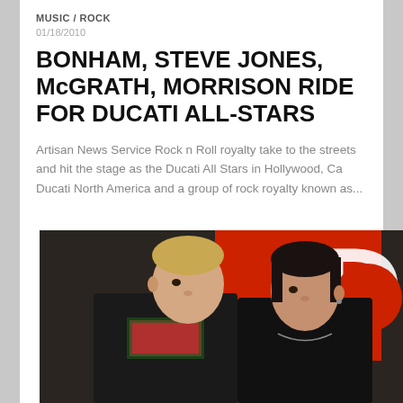MUSIC / ROCK
01/18/2010
BONHAM, STEVE JONES, McGRATH, MORRISON RIDE FOR DUCATI ALL-STARS
Artisan News Service Rock n Roll royalty take to the streets and hit the stage as the Ducati All Stars in Hollywood, Ca Ducati North America and a group of rock royalty known as...
[Figure (photo): Two men facing each other in front of a red Ducati banner. Left man is blond wearing a black leather jacket over a plaid shirt, right man is dark-haired wearing a black jacket with a necklace.]